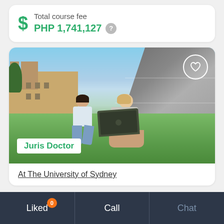Total course fee
PHP 1,741,127
[Figure (photo): Two female students sitting on grass outside a university building, one holding a laptop, with sandstone and modern grey buildings in background. Overlay text: Juris Doctor]
At The University of Sydney
Liked 0  Call  Chat